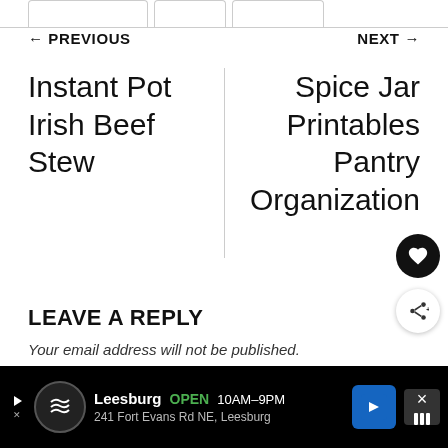← PREVIOUS | NEXT →
Instant Pot Irish Beef Stew
Spice Jar Printables Pantry Organization
LEAVE A REPLY
Your email address will not be published.
Leesburg OPEN 10AM–9PM 241 Fort Evans Rd NE, Leesburg